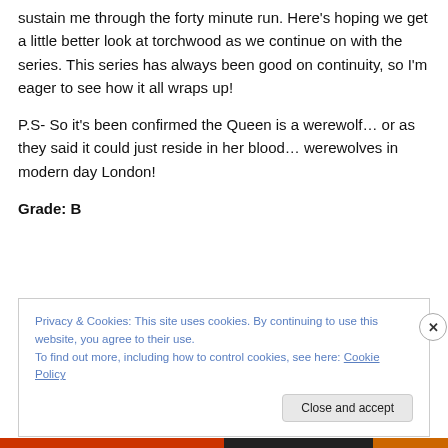sustain me through the forty minute run. Here's hoping we get a little better look at torchwood as we continue on with the series. This series has always been good on continuity, so I'm eager to see how it all wraps up!
P.S- So it's been confirmed the Queen is a werewolf… or as they said it could just reside in her blood… werewolves in modern day London!
Grade: B
Privacy & Cookies: This site uses cookies. By continuing to use this website, you agree to their use.
To find out more, including how to control cookies, see here: Cookie Policy